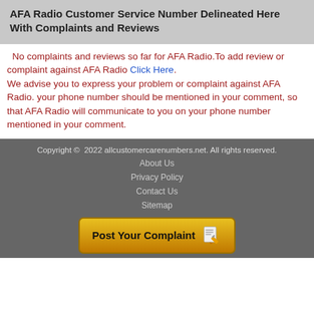AFA Radio Customer Service Number Delineated Here With Complaints and Reviews
No complaints and reviews so far for AFA Radio.To add review or complaint against AFA Radio Click Here.
We advise you to express your problem or complaint against AFA Radio. your phone number should be mentioned in your comment, so that AFA Radio will communicate to you on your phone number mentioned in your comment.
Copyright © 2022 allcustomercarenumbers.net. All rights reserved.
About Us
Privacy Policy
Contact Us
Sitemap